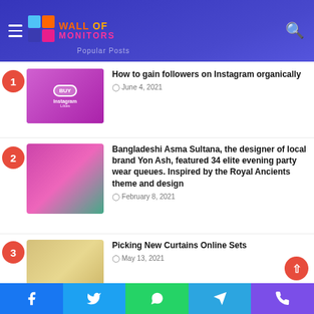Wall of Monitors
1. How to gain followers on Instagram organically - June 4, 2021
2. Bangladeshi Asma Sultana, the designer of local brand Yon Ash, featured 34 elite evening party wear queues. Inspired by the Royal Ancients theme and design - February 8, 2021
3. Picking New Curtains Online Sets - May 13, 2021
4. Why Seek O Level Chemistry Tuition Soon
Facebook, Twitter, WhatsApp, Telegram, Phone